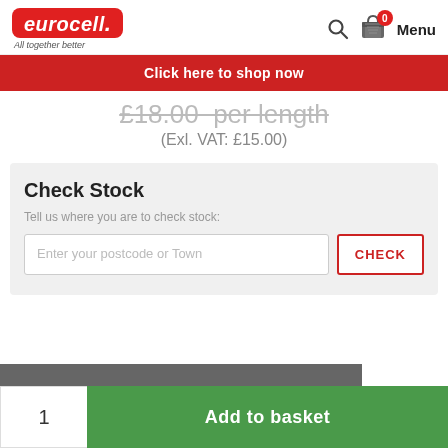eurocell - All together better
Click here to shop now
(Exl. VAT: £15.00)
Check Stock
Tell us where you are to check stock:
Enter your postcode or Town
CHECK
1
Add to basket